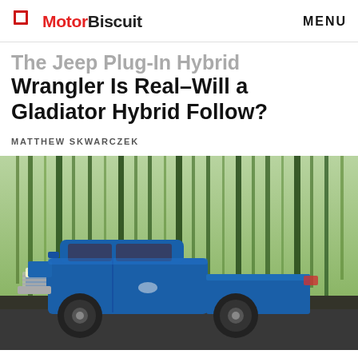MotorBiscuit  MENU
The Jeep Plug-In Hybrid Wrangler Is Real–Will a Gladiator Hybrid Follow?
MATTHEW SKWARCZEK
[Figure (photo): A blue Ford Ranger pickup truck driving through a forested area with motion-blurred trees in the background]